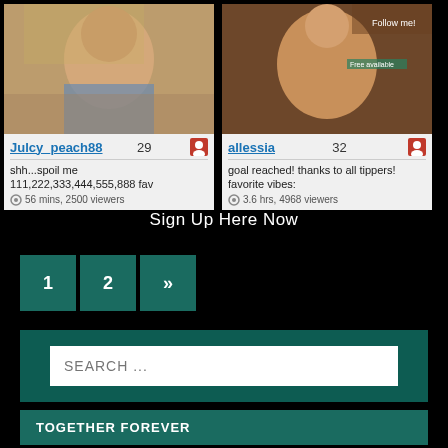[Figure (screenshot): Two webcam profile cards side by side. Left card: user 'Julcy_peach88', age 29, with profile photo. Description: 'shh...spoil me 111,222,333,444,555,888 fav', 56 mins, 2500 viewers. Right card: user 'allessia', age 32, with profile photo. Description: 'goal reached! thanks to all tippers! favorite vibes:', 3.6 hrs, 4968 viewers.]
Sign Up Here Now
1  2  »
SEARCH ...
TOGETHER FOREVER